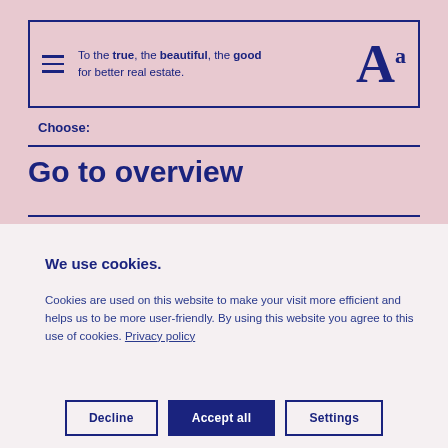To the true, the beautiful, the good for better real estate. Aa
Choose:
Go to overview
We use cookies.
Cookies are used on this website to make your visit more efficient and helps us to be more user-friendly. By using this website you agree to this use of cookies. Privacy policy
Decline
Accept all
Settings